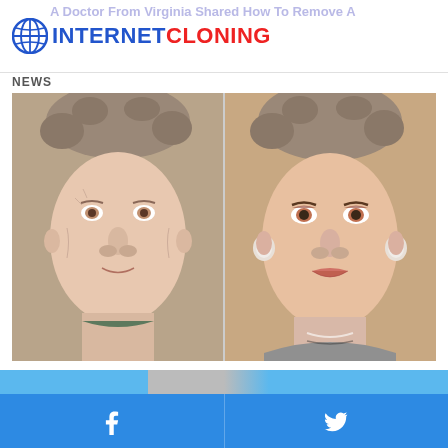INTERNETCLONING
A Doctor From Virginia Shared How To Remove A ...
NEWS
[Figure (photo): Before and after comparison photo of an elderly woman, approximately 87 years old. Left side shows her without makeup, right side shows her with full makeup applied.]
87-Year-Old Grandma Shocks Doctors: Forget Botox, Do This
SKIN